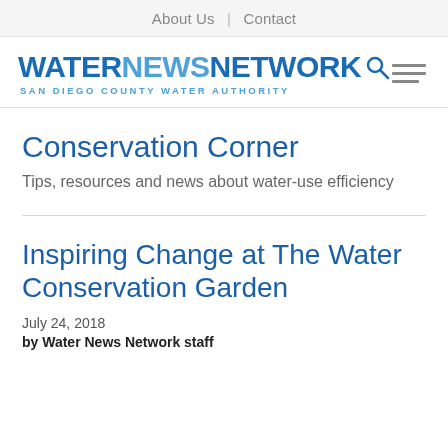About Us | Contact
[Figure (logo): Water News Network logo with San Diego County Water Authority subtitle and search icon, plus hamburger menu icon]
Conservation Corner
Tips, resources and news about water-use efficiency
Inspiring Change at The Water Conservation Garden
July 24, 2018
by Water News Network staff